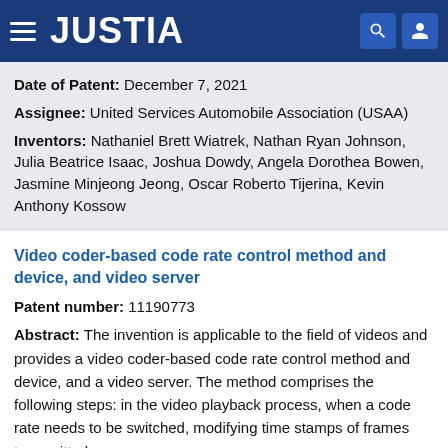JUSTIA
Date of Patent: December 7, 2021
Assignee: United Services Automobile Association (USAA)
Inventors: Nathaniel Brett Wiatrek, Nathan Ryan Johnson, Julia Beatrice Isaac, Joshua Dowdy, Angela Dorothea Bowen, Jasmine Minjeong Jeong, Oscar Roberto Tijerina, Kevin Anthony Kossow
Video coder-based code rate control method and device, and video server
Patent number: 11190773
Abstract: The invention is applicable to the field of videos and provides a video coder-based code rate control method and device, and a video server. The method comprises the following steps: in the video playback process, when a code rate needs to be switched, modifying time stamps of frames transmitted